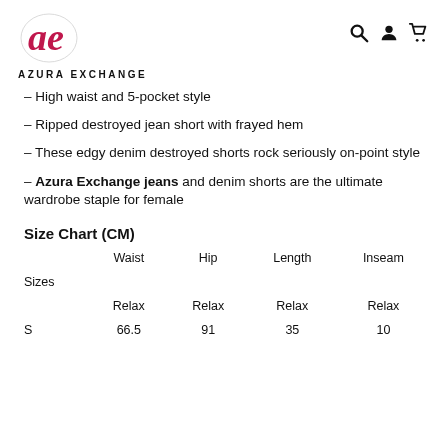AZURA EXCHANGE
– High waist and 5-pocket style
– Ripped destroyed jean short with frayed hem
– These edgy denim destroyed shorts rock seriously on-point style
– Azura Exchange jeans and denim shorts are the ultimate wardrobe staple for female
Size Chart (CM)
|  | Waist | Hip | Length | Inseam |
| --- | --- | --- | --- | --- |
| Sizes |  |  |  |  |
|  | Relax | Relax | Relax | Relax |
| S | 66.5 | 91 | 35 | 10 |